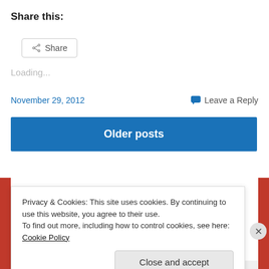Share this:
[Figure (other): Share button with share icon]
Loading...
November 29, 2012
Leave a Reply
Older posts
Privacy & Cookies: This site uses cookies. By continuing to use this website, you agree to their use.
To find out more, including how to control cookies, see here: Cookie Policy
Close and accept